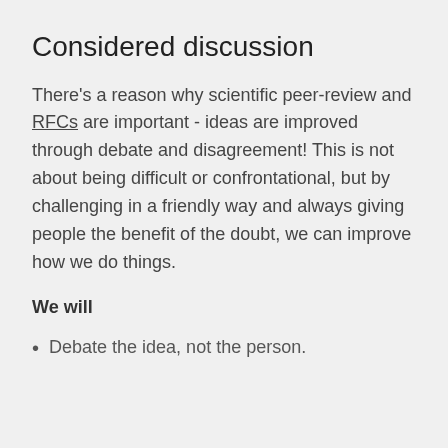Considered discussion
There's a reason why scientific peer-review and RFCs are important - ideas are improved through debate and disagreement! This is not about being difficult or confrontational, but by challenging in a friendly way and always giving people the benefit of the doubt, we can improve how we do things.
We will
Debate the idea, not the person.